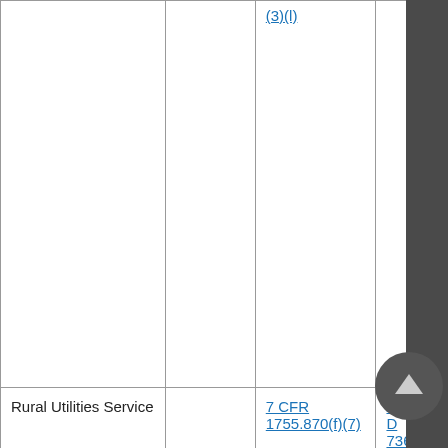|  |  |  |  |
| --- | --- | --- | --- |
|  |  | (3)(l) |  |
| Rural Utilities Service |  | 7 CFR 1755.870(f)(7) | ASTM D 736... |
| Rural Utilities Service |  | 7 CFR 1755.870(c)(3) | ASTM D 1... |